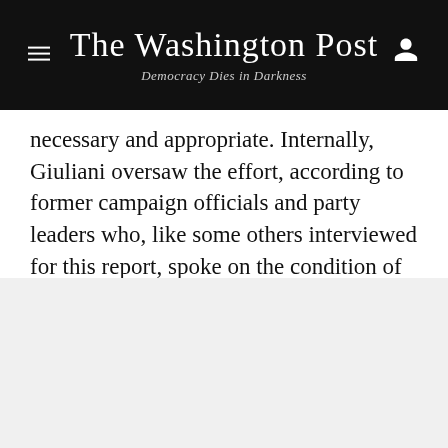The Washington Post — Democracy Dies in Darkness
necessary and appropriate. Internally, Giuliani oversaw the effort, according to former campaign officials and party leaders who, like some others interviewed for this report, spoke on the condition of anonymity to discuss private conversations. One of the people familiar with the plan said Giuliani was assisted at times by an anchor from the right-wing network One America News.